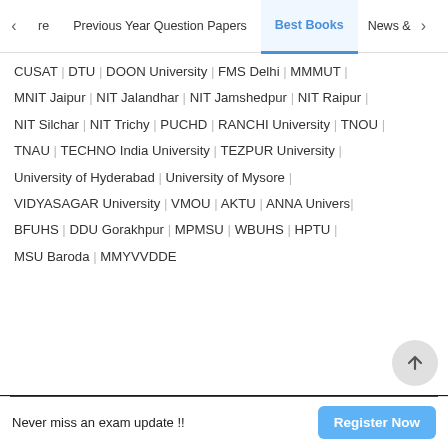re | Previous Year Question Papers | Best Books | News &
CUSAT | DTU | DOON University | FMS Delhi | MMMUT | MNIT Jaipur | NIT Jalandhar | NIT Jamshedpur | NIT Raipur | NIT Silchar | NIT Trichy | PUCHD | RANCHI University | TNOU | TNAU | TECHNO India University | TEZPUR University | University of Hyderabad | University of Mysore | VIDYASAGAR University | VMOU | AKTU | ANNA University | BFUHS | DDU Gorakhpur | MPMSU | WBUHS | HPTU | MSU Baroda | MMYVVDDE
Terms & Conditions   Privacy Policy
© 2022 CollegeDekho.com
Never miss an exam update !!
Register Now